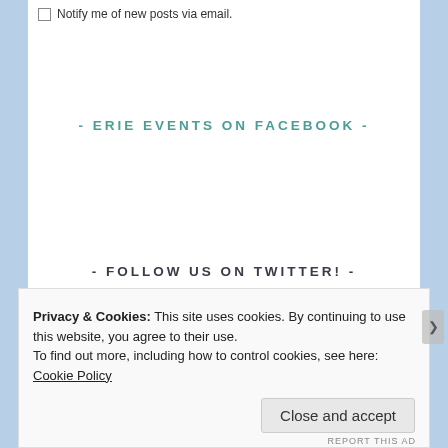Notify me of new posts via email.
- ERIE EVENTS ON FACEBOOK -
- FOLLOW US ON TWITTER! -
Privacy & Cookies: This site uses cookies. By continuing to use this website, you agree to their use.
To find out more, including how to control cookies, see here: Cookie Policy
Close and accept